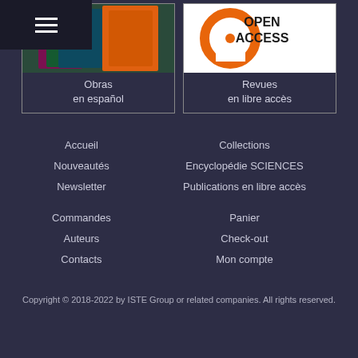[Figure (photo): Stack of books including Spanish language works on a dark background with colorful cover]
Obras
en español
[Figure (logo): Open Access logo — orange circular letter 'a' with text OPEN ACCESS on white background]
Revues
en libre accès
Accueil
Nouveautés
Newsletter
Commandes
Auteurs
Contacts
Collections
Encyclopédie SCIENCES
Publications en libre accès
Panier
Check-out
Mon compte
Copyright © 2018-2022 by ISTE Group or related companies. All rights reserved.